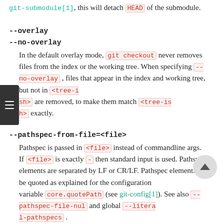git-submodule[1], this will detach HEAD of the submodule.
--overlay
--no-overlay
In the default overlay mode, git checkout never removes files from the index or the working tree. When specifying --no-overlay , files that appear in the index and working tree, but not in <tree-ish> are removed, to make them match <tree-ish> exactly.
--pathspec-from-file=<file>
Pathspec is passed in <file> instead of commandline args. If <file> is exactly - then standard input is used. Pathspec elements are separated by LF or CR/LF. Pathspec elements can be quoted as explained for the configuration variable core.quotePath (see git-config[1]). See also --pathspec-file-nul and global --literal-pathspecs .